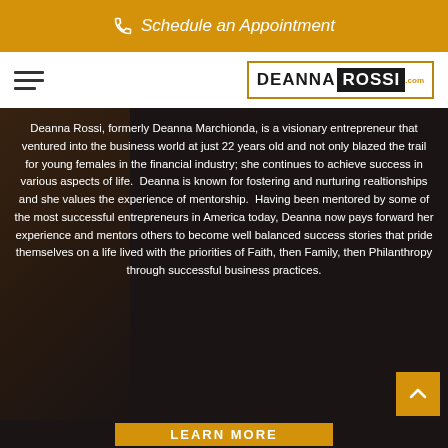Schedule an Appointment
[Figure (screenshot): Deanna Rossi website navigation bar with hamburger menu on left and Deanna Rossi logo on right]
Deanna Rossi, formerly Deanna Marchionda, is a visionary entrepreneur that ventured into the business world at just 22 years old and not only blazed the trail for young females in the financial industry; she continues to achieve success in various aspects of life.  Deanna is known for fostering and nurturing realtionships and she values the experience of mentorship.  Having been mentored by some of the most successful entrepreneurs in America today, Deanna now pays forward her experience and mentors others to become well balanced success stories that pride themselves on a life lived with the priorities of Faith, then Family, then Philanthropy through successful business practices.